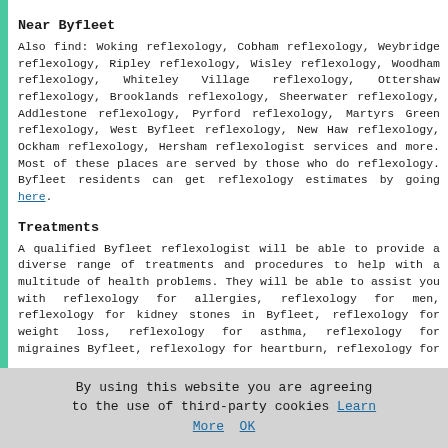Near Byfleet
Also find: Woking reflexology, Cobham reflexology, Weybridge reflexology, Ripley reflexology, Wisley reflexology, Woodham reflexology, Whiteley Village reflexology, Ottershaw reflexology, Brooklands reflexology, Sheerwater reflexology, Addlestone reflexology, Pyrford reflexology, Martyrs Green reflexology, West Byfleet reflexology, New Haw reflexology, Ockham reflexology, Hersham reflexologist services and more. Most of these places are served by those who do reflexology. Byfleet residents can get reflexology estimates by going here.
Treatments
A qualified Byfleet reflexologist will be able to provide a diverse range of treatments and procedures to help with a multitude of health problems. They will be able to assist you with reflexology for allergies, reflexology for men, reflexology for kidney stones in Byfleet, reflexology for weight loss, reflexology for asthma, reflexology for migraines Byfleet, reflexology for heartburn, reflexology for stress, whole body reflexology Byfleet, baby
By using this website you are agreeing to the use of third-party cookies Learn More OK